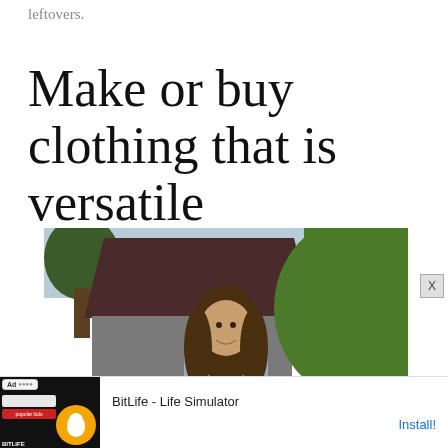leftovers.
Make or buy clothing that is versatile
[Figure (photo): Woman with long brown hair smiling outdoors, standing in front of a wooden shed/building with green trees and bushes in the background]
Ad  BitLife - Life Simulator  Install!